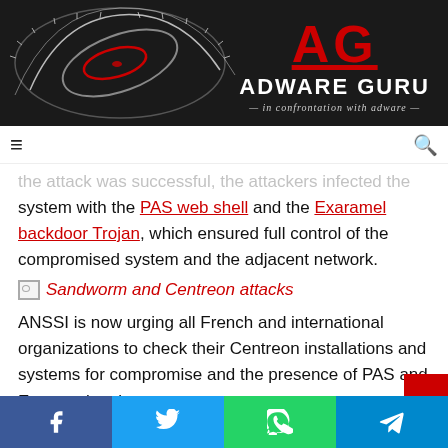[Figure (logo): Adware Guru website header banner with dark background, circular speedometer-like graphic, large red AG letters, ADWARE GURU text, and tagline 'in confrontation with adware']
Adware Guru — in confrontation with adware
the attack was successful, the attackers infected the system with the PAS web shell and the Exaramel backdoor Trojan, which ensured full control of the compromised system and the adjacent network.
[Figure (illustration): Broken image placeholder for 'Sandworm and Centreon attacks']
Sandworm and Centreon attacks
ANSSI is now urging all French and international organizations to check their Centreon installations and systems for compromise and the presence of PAS and Exaramel malware.